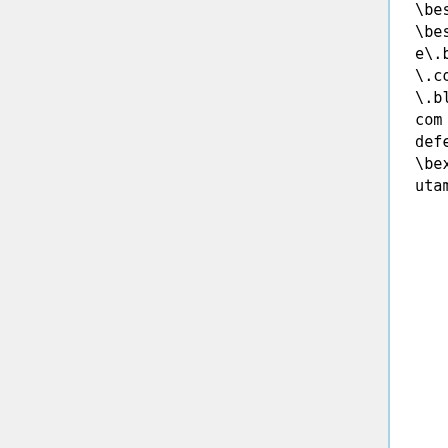\bescrordum\.net
\bescortvip\.com\.br
\bescritoriodearte\.com
\besnips\.com\/web
\bespacofitnessacademia\.com
\besporrozine\.blogspot\.com
\besportes\.820am\.com\.br
\besquinadotempo\.com\.br
\bestagionet\.com\.br
\bestudandoparaoexamedaordem\.blogspot\.com
\bestudoreligioso\.wordpress\.com
\besyurl\.com
\beuacheifacil\.com\.br
\beubiologia\.xpg\.com\.br
\beutodeferias\.com\.br
\bexamehosting\.com
\bexbancario\.blog\.br
\bexcelencia\.com\.br
\bexplorevale\.com\.br
\bexplosaoderecrutamento\.empreenderonline\.com